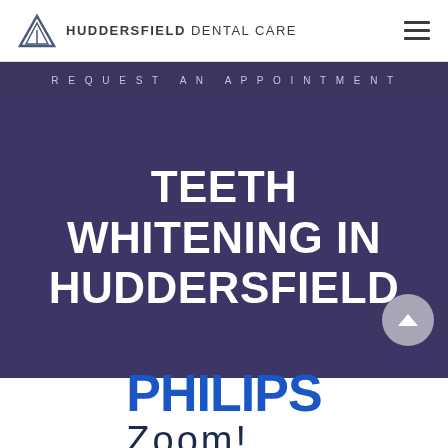HUDDERSFIELD DENTAL CARE
REQUEST AN APPOINTMENT
TEETH WHITENING IN HUDDERSFIELD
[Figure (logo): Philips Zoom! logo with PHILIPS in large blue bold uppercase text and Zoom! in dark navy with mixed case below]